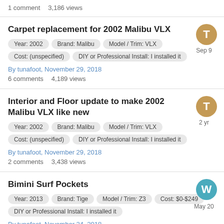1 comment    3,186 views
Carpet replacement for 2002 Malibu VLX
Year: 2002   Brand: Malibu   Model / Trim: VLX
Cost: (unspecified)   DIY or Professional Install: I installed it
By tunafoot, November 29, 2018
6 comments    4,189 views
Interior and Floor update to make 2002 Malibu VLX like new
Year: 2002   Brand: Malibu   Model / Trim: VLX
Cost: (unspecified)   DIY or Professional Install: I installed it
By tunafoot, November 29, 2018
2 comments    3,438 views
Bimini Surf Pockets
Year: 2013   Brand: Tige   Model / Trim: Z3
Cost: $0-$249   DIY or Professional Install: I installed it
By tunafoot, November 24, 2018
4 comments    7,983 views